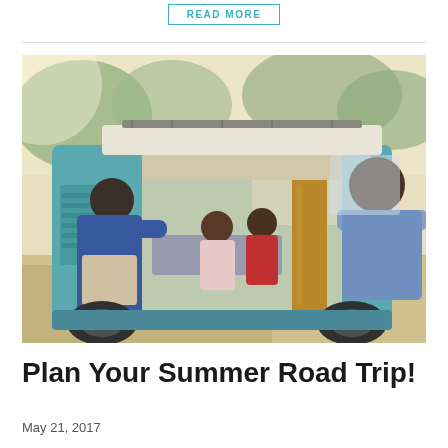READ MORE
[Figure (photo): A family with two children sitting inside a vintage teal VW camper van. A man in a blue shirt leans in through the open sliding door talking to the children, while a woman in a light blue denim shirt leans on the passenger window from outside. Sunny outdoor setting with trees in background.]
Plan Your Summer Road Trip!
May 21, 2017